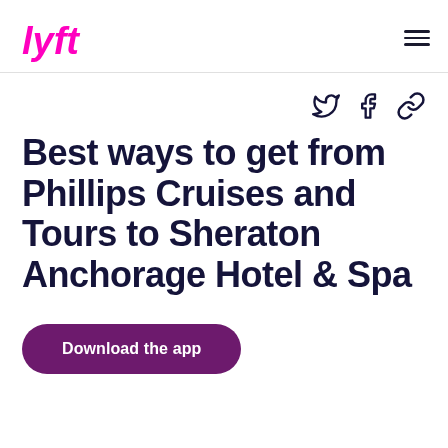Lyft logo and navigation
[Figure (logo): Lyft logo in pink/magenta, stylized text 'lyft']
Social share icons: Twitter, Facebook, link/copy
Best ways to get from Phillips Cruises and Tours to Sheraton Anchorage Hotel & Spa
Download the app